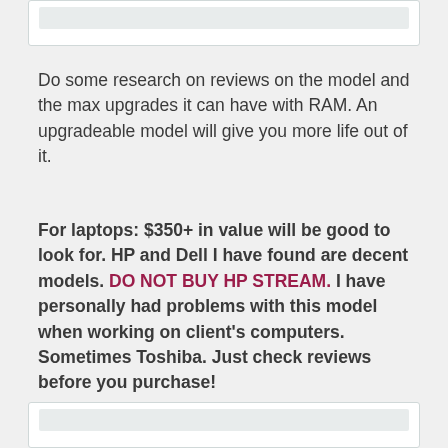[Figure (other): Top card UI element with gray inner bar]
Do some research on reviews on the model and the max upgrades it can have with RAM. An upgradeable model will give you more life out of it.
For laptops: $350+ in value will be good to look for. HP and Dell I have found are decent models. DO NOT BUY HP STREAM. I have personally had problems with this model when working on client's computers. Sometimes Toshiba. Just check reviews before you purchase!
[Figure (other): Bottom card UI element with gray inner bar]